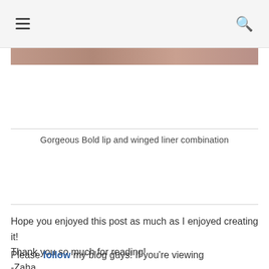☰  🔍
[Figure (photo): Bottom edge of a beauty/makeup photo showing a rosy-brown gradient strip]
Gorgeous Bold lip and winged liner combination
Hope you enjoyed this post as much as I enjoyed creating it!
Thank you so much for reading!
-Zaha
.
.
.
.
.
Please follow my blog guys! If you're viewing